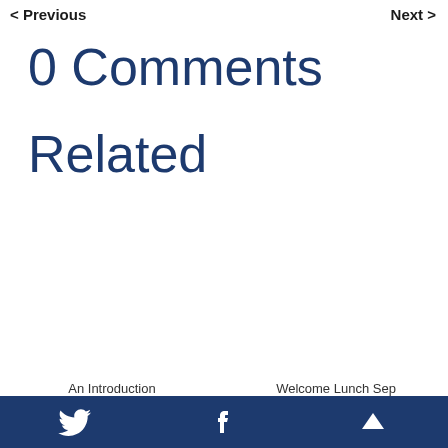< Previous    Next >
0 Comments
Related
An Introduction    Welcome Lunch Sep
Twitter  Facebook  Up